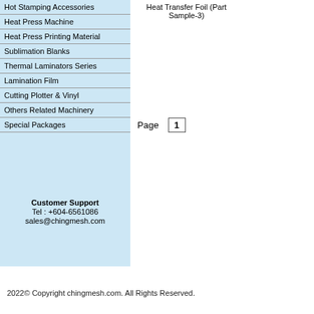Hot Stamping Accessories
Heat Press Machine
Heat Press Printing Material
Sublimation Blanks
Thermal Laminators Series
Lamination Film
Cutting Plotter & Vinyl
Others Related Machinery
Special Packages
Heat Transfer Foil (Part Sample-3)
Page  1
Customer Support
Tel : +604-6561086
sales@chingmesh.com
2022© Copyright chingmesh.com. All Rights Reserved.